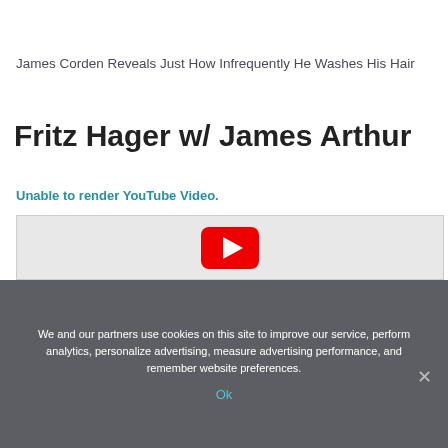James Corden Reveals Just How Infrequently He Washes His Hair
Fritz Hager w/ James Arthur
Unable to render YouTube Video.
[Figure (screenshot): YouTube video embed placeholder with red YouTube play button icon on grey background]
We and our partners use cookies on this site to improve our service, perform analytics, personalize advertising, measure advertising performance, and remember website preferences.
Ok